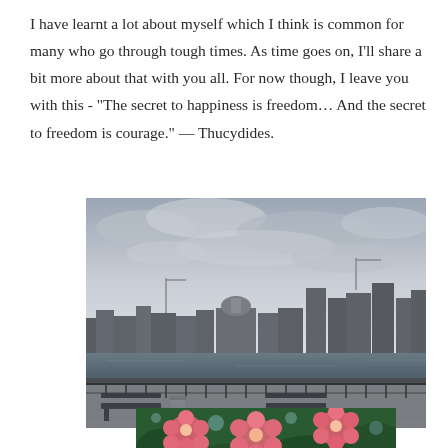I have learnt a lot about myself which I think is common for many who go through tough times. As time goes on, I'll share a bit more about that with you all. For now though, I leave you with this - "The secret to happiness is freedom... And the secret to freedom is courage." — Thucydides.
[Figure (photo): A photograph of the London skyline taken from the South Bank of the Thames. The image shows a cloudy grey sky with the city skyline including St Paul's Cathedral and modern skyscrapers. In the foreground is a riverside promenade with railings, benches and a litter bin.]
[Figure (photo): A close-up photograph of pink flowers (daisies/chrysanthemums) with green foliage and bokeh light effects in the background.]